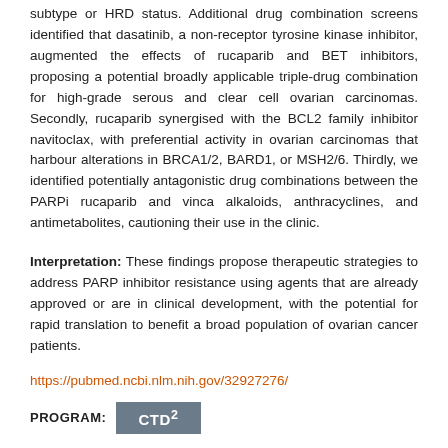subtype or HRD status. Additional drug combination screens identified that dasatinib, a non-receptor tyrosine kinase inhibitor, augmented the effects of rucaparib and BET inhibitors, proposing a potential broadly applicable triple-drug combination for high-grade serous and clear cell ovarian carcinomas. Secondly, rucaparib synergised with the BCL2 family inhibitor navitoclax, with preferential activity in ovarian carcinomas that harbour alterations in BRCA1/2, BARD1, or MSH2/6. Thirdly, we identified potentially antagonistic drug combinations between the PARPi rucaparib and vinca alkaloids, anthracyclines, and antimetabolites, cautioning their use in the clinic.
Interpretation: These findings propose therapeutic strategies to address PARP inhibitor resistance using agents that are already approved or are in clinical development, with the potential for rapid translation to benefit a broad population of ovarian cancer patients.
https://pubmed.ncbi.nlm.nih.gov/32927276/
PROGRAM: CTD²
Last updated: October 26, 2020
Content on this page maintained by the Office of Cancer Genomics